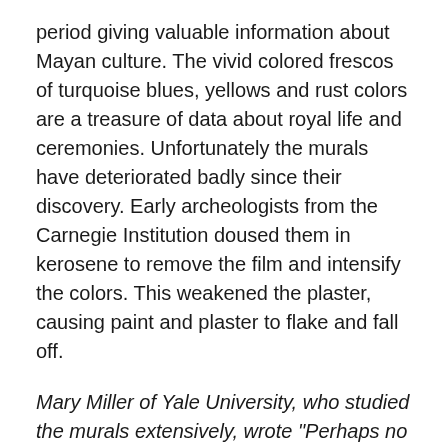period giving valuable information about Mayan culture. The vivid colored frescos of turquoise blues, yellows and rust colors are a treasure of data about royal life and ceremonies. Unfortunately the murals have deteriorated badly since their discovery. Early archeologists from the Carnegie Institution doused them in kerosene to remove the film and intensify the colors. This weakened the plaster, causing paint and plaster to flake and fall off.
Mary Miller of Yale University, who studied the murals extensively, wrote "Perhaps no single artifact from the ancient New World offers as complex a view of pre-Hispanic society as do the Bonampak paintings. No other work features so many Maya engaged in the life of the court and rendered in such great detail, making the Bonampak murals an unparalleled resource for understanding ancient society."